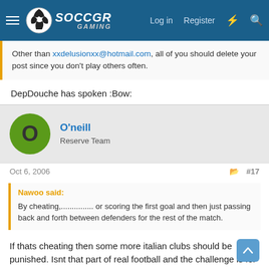[Figure (screenshot): Soccer Gaming forum navigation bar with hamburger menu, soccer ball logo, SOCCGR GAMING text, Log in, Register, lightning bolt icon, and search icon on dark blue background]
Other than xxdelusionxx@hotmail.com, all of you should delete your post since you don't play others often.
DepDouche has spoken :Bow:
O'neill
Reserve Team
Oct 6, 2006   #17
Nawoo said:
By cheating,............... or scoring the first goal and then just passing back and forth between defenders for the rest of the match.
If thats cheating then some more italian clubs should be punished. Isnt that part of real football and the challenge is for